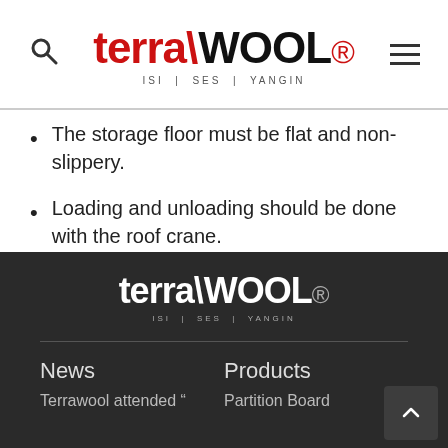terra\WOOL. ISI | SES | YANGIN
The storage floor must be flat and non-slippery.
Loading and unloading should be done with the roof crane.
Plates should be carefully transported to the application area by two persons.
terra\WOOL. ISI | SES | YANGIN | News | Terrawool attended " | Products | Partition Board